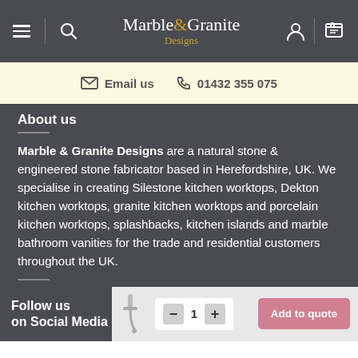Marble & Granite Designs — navigation bar with hamburger, search, logo, user and cart icons
Email us  01432 355 075
Marble & Granite Designs are a natural stone & engineered stone fabricator based in Herefordshire, UK. We specialise in creating Silestone kitchen worktops, Dekton kitchen worktops, granite kitchen worktops and porcelain kitchen worktops, splashbacks, kitchen islands and marble bathroom vanities for the trade and residential customers throughout the UK.
Follow us on Social Media  Add to quote